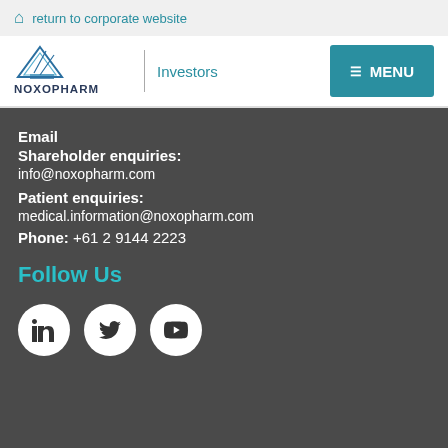return to corporate website
[Figure (logo): Noxopharm company logo with triangle/arrow graphic and text NOXOPHARM, with Investors link and MENU button]
Email
Shareholder enquiries:
info@noxopharm.com
Patient enquiries:
medical.information@noxopharm.com
Phone: +61 2 9144 2223
Follow Us
[Figure (illustration): Three social media icons in white circles: LinkedIn, Twitter, YouTube]